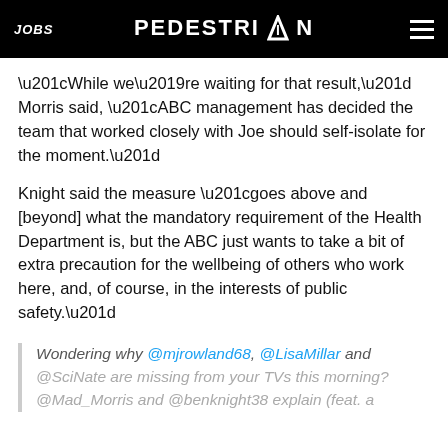JOBS | PEDESTRIAN | (menu icon)
“While we’re waiting for that result,” Morris said, “ABC management has decided the team that worked closely with Joe should self-isolate for the moment.”
Knight said the measure “goes above and [beyond] what the mandatory requirement of the Health Department is, but the ABC just wants to take a bit of extra precaution for the wellbeing of others who work here, and, of course, in the interests of public safety.”
Wondering why @mjrowland68, @LisaMillar and @SciNate are missing from your TVs this morning? @Mad_Morris and @benknight38 explain (feat. a